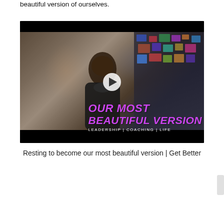beautiful version of ourselves.
[Figure (screenshot): Video thumbnail showing a man with a beard, eyes closed, with text overlay reading 'OUR MOST BEAUTIFUL VERSION - LEADERSHIP | COACHING | LIFE' and a play button in the center. Dark background with shelves visible.]
Resting to become our most beautiful version | Get Better